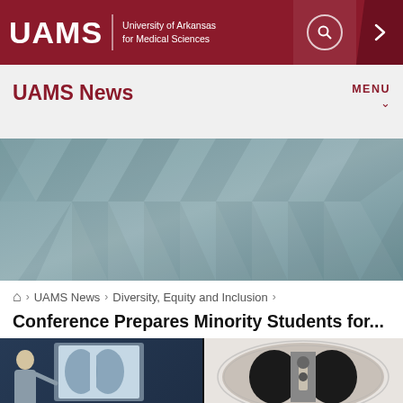UAMS — University of Arkansas for Medical Sciences
UAMS News
[Figure (screenshot): UAMS News hero banner with geometric triangle pattern in teal/grey tones]
Home › UAMS News › Diversity, Equity and Inclusion ›
Conference Prepares Minority Students for...
[Figure (screenshot): Video thumbnail showing a man presenting with a chest X-ray image on the left panel and a CT scan lung image on the right panel, on a dark background]